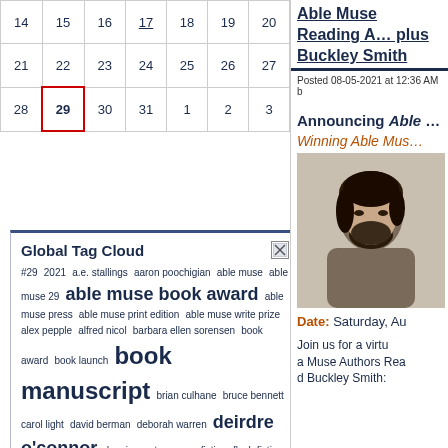|  |  |  |  |  |  |  |
| --- | --- | --- | --- | --- | --- | --- |
| 14 | 15 | 16 | 17 | 18 | 19 | 20 |
| 21 | 22 | 23 | 24 | 25 | 26 | 27 |
| 28 | 29 | 30 | 31 | 1 | 2 | 3 |
Global Tag Cloud
#29 2021 a.e. stallings aaron poochigian able muse able muse 29 able muse book award able muse press able muse print edition able muse write prize alex pepple alfred nicol barbara ellen sorensen book award book launch book manuscript brian culhane bruce bennett carol light david berman deborah warren deirdre o'connor dennis must essays fiction flash fiction gail white j.c. todd james pollock jan d. hodge jan d hodge jennifer reeser john philip drury john ridland kelly rowe lee harlin bahan len krisak mark jarman maryann corbett memorial michael cantor moira egan novel reading paulette demers turco poetry poetry book poetry book manuscript poetry collection poetry manuscript poetry reading poetry translation print edition rachel badas
Able Muse Reading A… plus Buckley Smith
Posted 08-05-2021 at 12:36 AM b
Announcing Able …
Winning Able Mus…
[Figure (photo): Portrait photo of a man with dark hair and beard]
Date: Saturday, Au
Join us for a virtual Muse Authors Rea… Buckley Smith: